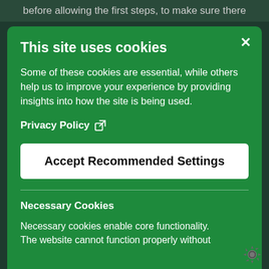before allowing the first steps, to make sure there
This site uses cookies
Some of these cookies are essential, while others help us to improve your experience by providing insights into how the site is being used.
Privacy Policy [external link icon]
Accept Recommended Settings
Necessary Cookies
Necessary cookies enable core functionality. The website cannot function properly without